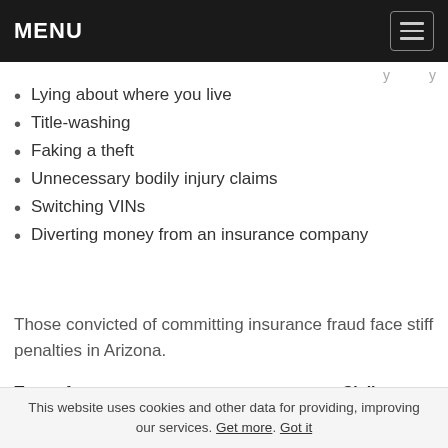MENU
Lying about where you live
Title-washing
Faking a theft
Unnecessary bodily injury claims
Switching VINs
Diverting money from an insurance company
Those convicted of committing insurance fraud face stiff penalties in Arizona.
| Type of Penalty | Imprisonment | Fine | Civil Penalty |
| --- | --- | --- | --- |
|  | Up to 10 | Up to | Up to |
This website uses cookies and other data for providing, improving our services. Get more. Got it